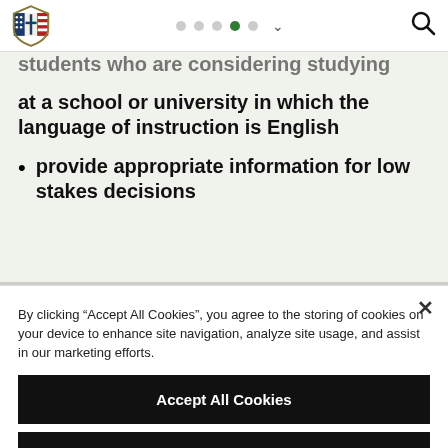Navigation bar with logo, pagination dots, and search icon
students who are considering studying at a school or university in which the language of instruction is English
provide appropriate information for low stakes decisions
By clicking “Accept All Cookies”, you agree to the storing of cookies on your device to enhance site navigation, analyze site usage, and assist in our marketing efforts.
Accept All Cookies
Reject All
Cookies Settings